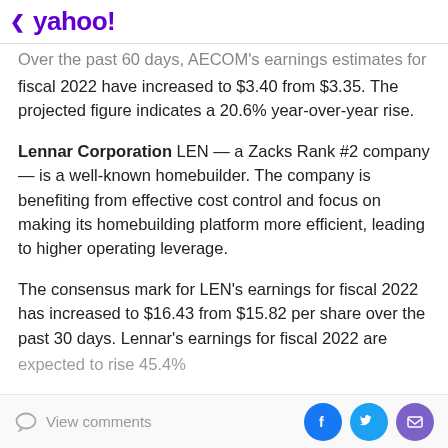< yahoo!
Over the past 60 days, AECOM's earnings estimates for fiscal 2022 have increased to $3.40 from $3.35. The projected figure indicates a 20.6% year-over-year rise.
Lennar Corporation LEN — a Zacks Rank #2 company — is a well-known homebuilder. The company is benefiting from effective cost control and focus on making its homebuilding platform more efficient, leading to higher operating leverage.
The consensus mark for LEN's earnings for fiscal 2022 has increased to $16.43 from $15.82 per share over the past 30 days. Lennar's earnings for fiscal 2022 are expected to rise 45.4%
View comments